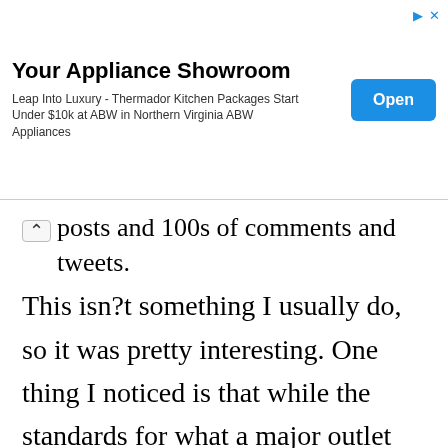[Figure (screenshot): Advertisement banner for 'Your Appliance Showroom' with title, subtitle text about Thermador Kitchen Packages, and a blue 'Open' button. Small ad indicator icons in top right.]
posts and 100s of comments and tweets. This isn?t something I usually do, so it was pretty interesting. One thing I noticed is that while the standards for what a major outlet will publish are very low, the standard for comments has gone way up from what it once was because new systems allow commenters long term identities. Those using Facebook are pretty much forced to comment as themselves, while others maintain one